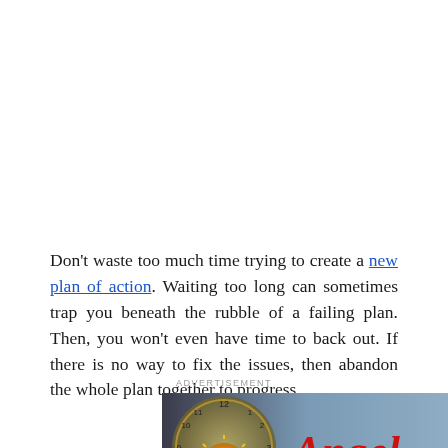Don't waste too much time trying to create a new plan of action. Waiting too long can sometimes trap you beneath the rubble of a failing plan. Then, you won't even have time to back out. If there is no way to fix the issues, then abandon the whole plan together to progress.
ADVERTISEMENT
[Figure (photo): Advertisement image showing an angel-themed book or product cover with a clock motif on the left, red stylized 'Angel' text in the center, and a side profile of a face on the right against a blue-grey background.]